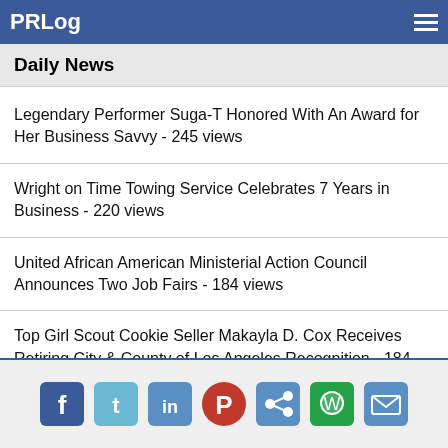PRLog
Daily News
Legendary Performer Suga-T Honored With An Award for Her Business Savvy - 245 views
Wright on Time Towing Service Celebrates 7 Years in Business - 220 views
United African American Ministerial Action Council Announces Two Job Fairs - 184 views
Top Girl Scout Cookie Seller Makayla D. Cox Receives Retiring City & County of Los Angeles Recognition - 184 views
SEO Consulting Company Announces New Structured Data SEO Services - 166 views
Social sharing icons: Facebook, Twitter, LinkedIn, Pinterest, Share, WhatsApp, Email